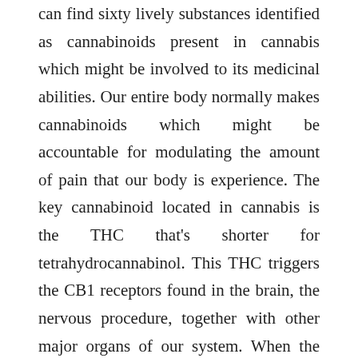can find sixty lively substances identified as cannabinoids present in cannabis which might be involved to its medicinal abilities. Our entire body normally makes cannabinoids which might be accountable for modulating the amount of pain that our body is experience. The key cannabinoid located in cannabis is the THC that's shorter for tetrahydrocannabinol. This THC triggers the CB1 receptors found in the brain, the nervous procedure, together with other major organs of our system. When the CB1 receptors are activated, they launch hormones that can quell stress and agony